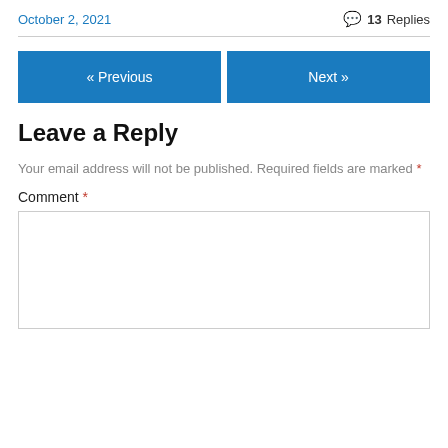October 2, 2021
💬 13 Replies
« Previous
Next »
Leave a Reply
Your email address will not be published. Required fields are marked *
Comment *